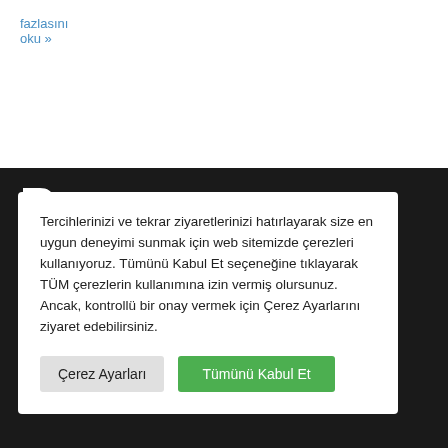fazlasını oku »
[Figure (logo): RC Rekreasyon Çalışmaları logo — white stylized RC letters with company name text on dark background]
Tercihlerinizi ve tekrar ziyaretlerinizi hatırlayarak size en uygun deneyimi sunmak için web sitemizde çerezleri kullanıyoruz. Tümünü Kabul Et seçeneğine tıklayarak TÜM çerezlerin kullanımına izin vermiş olursunuz. Ancak, kontrollü bir onay vermek için Çerez Ayarlarını ziyaret edebilirsiniz.
Çerez Ayarları
Tümünü Kabul Et